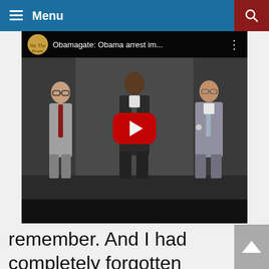Menu
[Figure (screenshot): YouTube video thumbnail showing three men in suits walking, titled 'Obamagate: Obama arrest im...']
remember. And I had completely forgotten about it. And then a